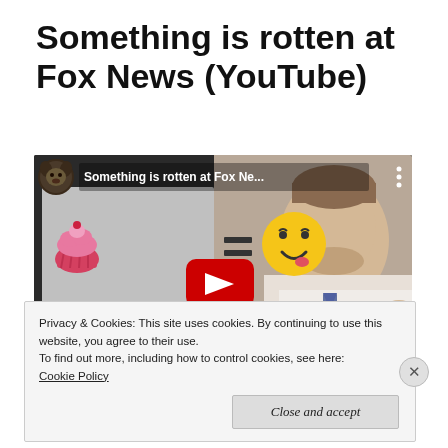Something is rotten at Fox News (YouTube)
[Figure (screenshot): YouTube video thumbnail showing a man in a white shirt and tie on the right side, with a left panel showing a dog avatar, cupcake emoji, equals sign, and smiley face emoji. Video title reads 'Something is rotten at Fox Ne...' with a red play button overlay.]
Privacy & Cookies: This site uses cookies. By continuing to use this website, you agree to their use.
To find out more, including how to control cookies, see here:
Cookie Policy
Close and accept